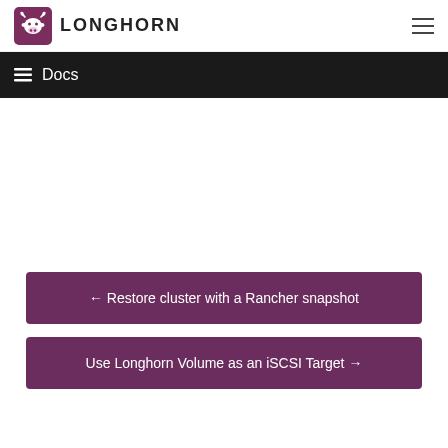[Figure (logo): Longhorn logo with bull icon and text LONGHORN]
≡ Docs
← Restore cluster with a Rancher snapshot
Use Longhorn Volume as an iSCSI Target →